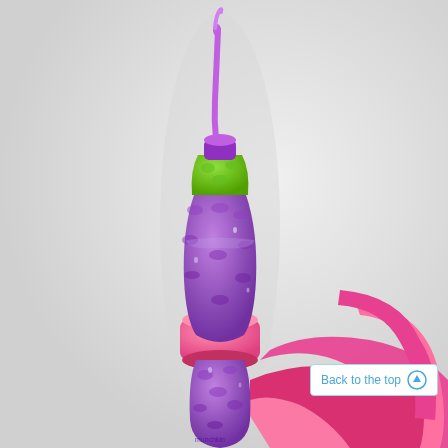[Figure (photo): A purple children's sippy/straw bottle with a green cap and purple straw, mounted in a pink bottle holder with handle straps. The bottle has a textured body with a bumped pattern. The background is light gray/white. A 'Back to the top' button with an up-arrow icon is visible in the bottom-right area.]